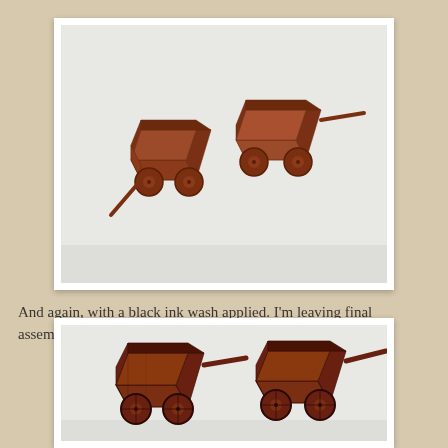[Figure (photo): Two small reddish-brown miniature wooden carts/wagons photographed on a white surface. The left cart is viewed from a three-quarter rear angle, the right cart from a three-quarter front angle showing its handle/shaft extending to the right. Both carts have round wheels and open box bodies.]
And again, with a black ink wash applied. I'm leaving final assembly to another post, so...
[Figure (photo): Two reddish-brown miniature wooden carts/wagons photographed on a white surface, similar to the top photo but with a black ink wash applied making details more visible. The left cart is viewed from a three-quarter front angle, and the right cart from a three-quarter rear angle with its shaft/handle extending to the right.]